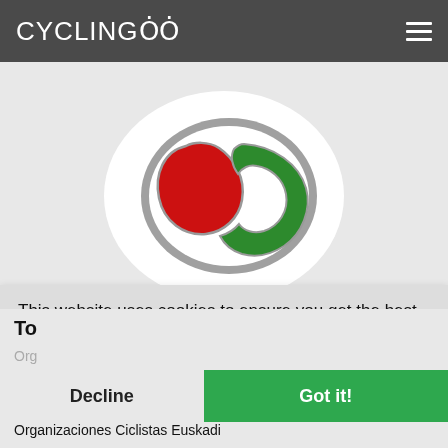CYCLINGOO
[Figure (logo): Euskadi cycling organization logo: an oval shape in gray outline with a red teardrop/shield shape on the left and a green curved arrow/chevron shape on the right, on a white circular background]
This website uses cookies to ensure you get the best experience on our website
More info
To
Org
Organizaciones Ciclistas Euskadi
Decline
Got it!